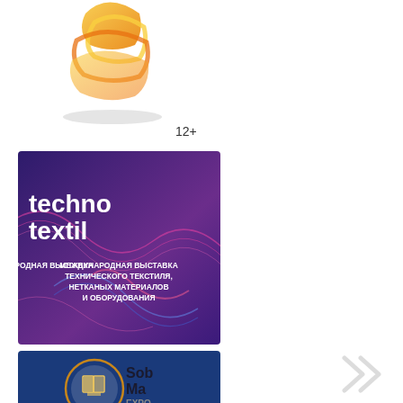[Figure (logo): Partially visible golden/orange 3D geometric logo shape at top left, with a shadow beneath it]
12+
[Figure (illustration): Technotextil exhibition banner: purple/dark blue background with colorful wave patterns, white text 'technotextil' and subtitle in Russian: МЕЖДУНАРОДНАЯ ВЫСТАВКА ТЕХНИЧЕСКОГО ТЕКСТИЛЯ, НЕТКАНЫХ МАТЕРИАЛОВ И ОБОРУДОВАНИЯ]
[Figure (illustration): SobMa EXPO exhibition banner: dark blue background with circular logo containing yellow book/document icon and 'SobMa EXPO' text, large yellow text 'ВЫСТАВКА КОНТРАКТНОГО' at bottom]
[Figure (illustration): Decorative gray chevron/arrow shapes at bottom right corner]